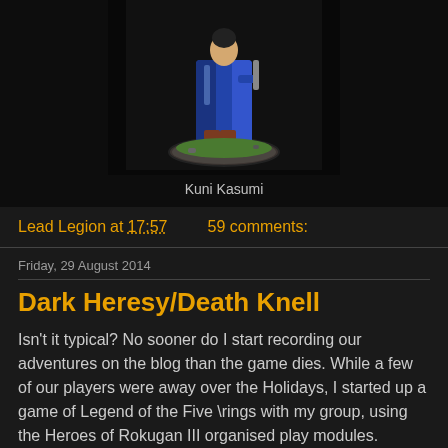[Figure (photo): A painted miniature figure (Kuni Kasumi) on a dark background, showing a character in blue robes on a textured base with yellow grass tufts.]
Kuni Kasumi
Lead Legion at 17:57    59 comments:
Friday, 29 August 2014
Dark Heresy/Death Knell
Isn't it typical? No sooner do I start recording our adventures on the blog than the game dies. While a few of our players were away over the Holidays, I started up a game of Legend of the Five \rings with my group, using the Heroes of Rokugan III organised play modules.
My group liked it so much, we've moved over to playing LFR